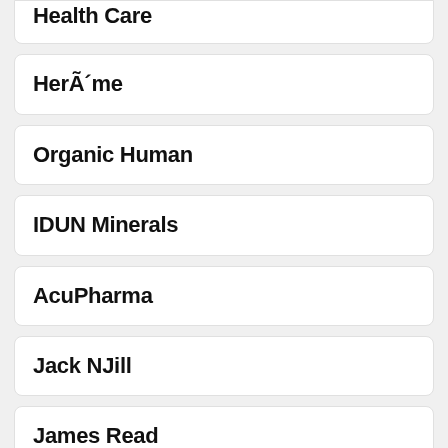Health Care
HerÃ´me
Organic Human
IDUN Minerals
AcuPharma
Jack NJill
James Read
Medic Team
John Masters Organics